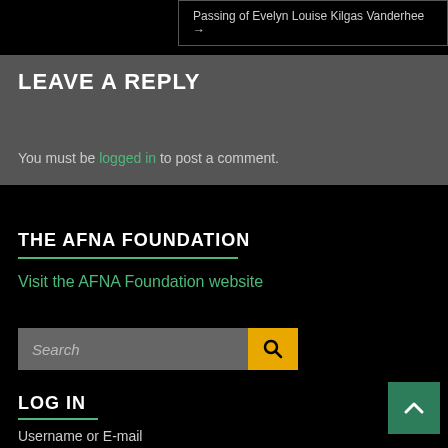Passing of Evelyn Louise Kilgas Vanderhee →
LEAVE A REPLY
You must be logged in to post a comment.
THE AFNA FOUNDATION
Visit the AFNA Foundation website
LOG IN
Username or E-mail